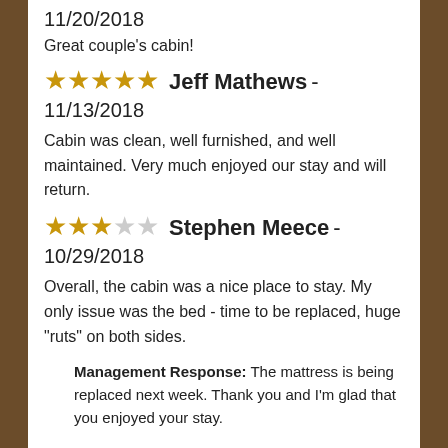11/20/2018
Great couple's cabin!
★★★★★  Jeff Mathews - 11/13/2018
Cabin was clean, well furnished, and well maintained. Very much enjoyed our stay and will return.
★★★☆☆  Stephen Meece - 10/29/2018
Overall, the cabin was a nice place to stay. My only issue was the bed - time to be replaced, huge "ruts" on both sides.
Management Response: The mattress is being replaced next week. Thank you and I'm glad that you enjoyed your stay.